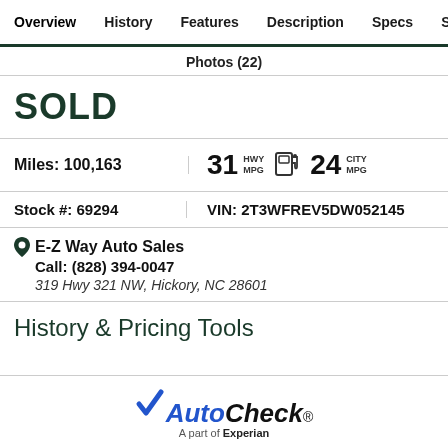Overview | History | Features | Description | Specs | Simi...
Photos (22)
SOLD
Miles: 100,163  |  31 HWY MPG  24 CITY MPG
Stock #: 69294  |  VIN: 2T3WFREV5DW052145
E-Z Way Auto Sales
Call: (828) 394-0047
319 Hwy 321 NW, Hickory, NC 28601
History & Pricing Tools
[Figure (logo): AutoCheck - A part of Experian logo in blue and black]